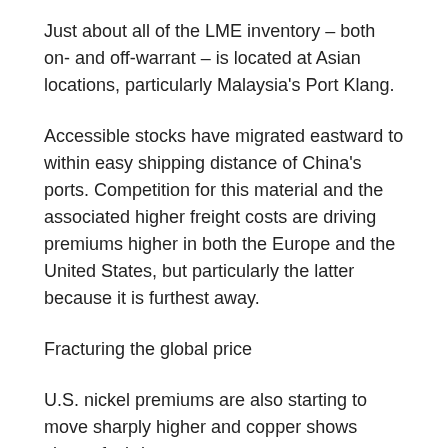Just about all of the LME inventory – both on- and off-warrant – is located at Asian locations, particularly Malaysia's Port Klang.
Accessible stocks have migrated eastward to within easy shipping distance of China's ports. Competition for this material and the associated higher freight costs are driving premiums higher in both the Europe and the United States, but particularly the latter because it is furthest away.
Fracturing the global price
U.S. nickel premiums are also starting to move sharply higher and copper shows signs of stirring.
Only zinc seems relatively immune because of greater domestic production capacity and plenty of LME stocks in New Orleans.